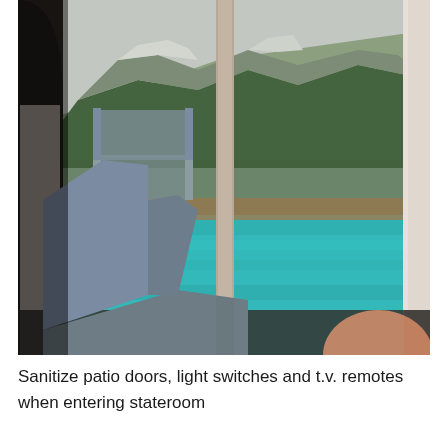[Figure (photo): A cruise ship cabin balcony view. In the foreground, a light blue/grey patio chair is visible indoors, with curtains on the right and an arched doorway on the left. Through sliding glass patio doors divided by a vertical frame, there is a balcony with another patio chair. Beyond the balcony railing is a vivid turquoise fjord/lake with densely forested mountains in the background. The scene is lit with overcast natural light.]
Sanitize patio doors, light switches and t.v. remotes when entering stateroom